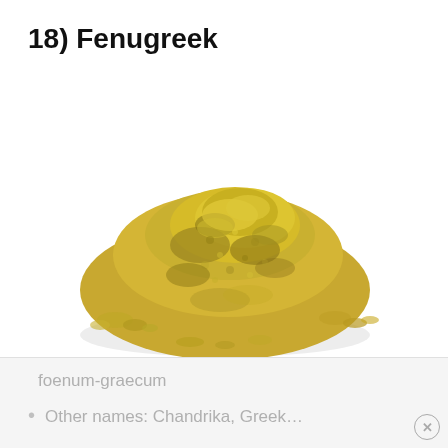18) Fenugreek
[Figure (photo): A pile of yellow-green fenugreek powder on a white background]
Botanical name: Trigonella
foenum-graecum
Other names: Chandrika, Greek...